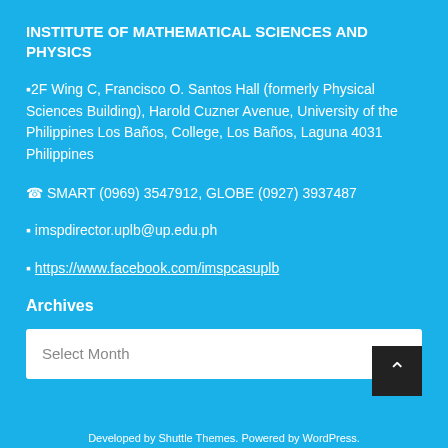INSTITUTE OF MATHEMATICAL SCIENCES AND PHYSICS
⬛2F Wing C, Francisco O. Santos Hall (formerly Physical Sciences Building), Harold Cuzner Avenue, University of the Philippines Los Baños, College, Los Baños, Laguna 4031 Philippines
☎ SMART (0969) 3547912, GLOBE (0927) 3937487
✉ imspdirector.uplb@up.edu.ph
⬛ https://www.facebook.com/imspcasuplb
Archives
Select Month
Developed by Shuttle Themes. Powered by WordPress.